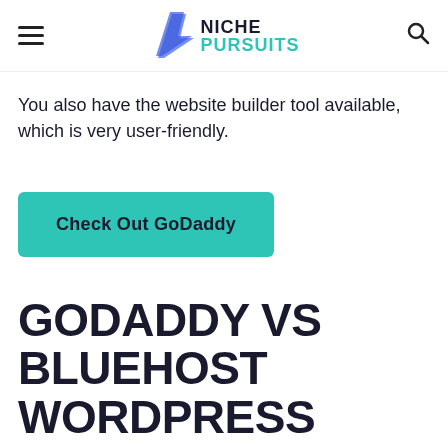NICHE PURSUITS
You also have the website builder tool available, which is very user-friendly.
Check Out GoDaddy
GODADDY VS BLUEHOST WORDPRESS FEATURES